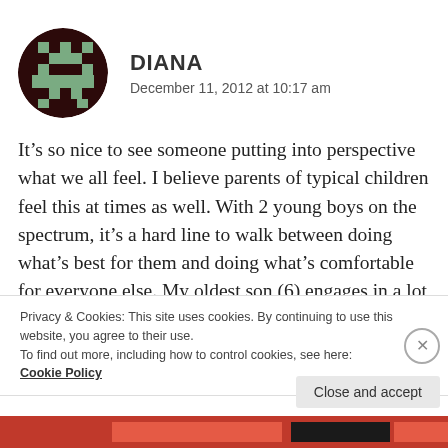[Figure (illustration): Pixel art avatar of Diana — dark circular background with green and dark brown pixel pattern resembling a retro video game character]
DIANA
December 11, 2012 at 10:17 am
It’s so nice to see someone putting into perspective what we all feel. I believe parents of typical children feel this at times as well. With 2 young boys on the spectrum, it’s a hard line to walk between doing what’s best for them and doing what’s comfortable for everyone else. My oldest son (6) engages in a lot
Privacy & Cookies: This site uses cookies. By continuing to use this website, you agree to their use.
To find out more, including how to control cookies, see here: Cookie Policy
Close and accept